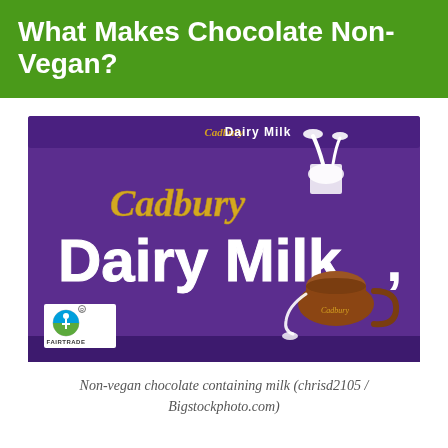What Makes Chocolate Non-Vegan?
[Figure (photo): Cadbury Dairy Milk chocolate bar packaging in purple with Fairtrade logo and milk jug illustration]
Non-vegan chocolate containing milk (chrisd2105 / Bigstockphoto.com)